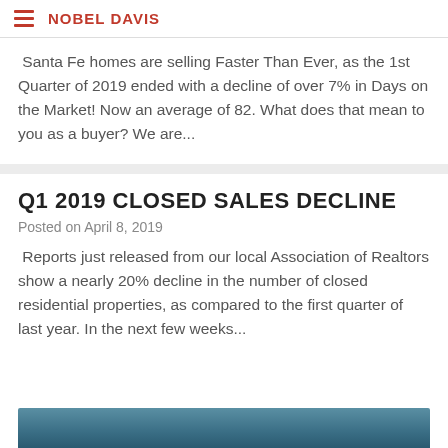NOBEL DAVIS
Santa Fe homes are selling Faster Than Ever, as the 1st Quarter of 2019 ended with a decline of over 7% in Days on the Market! Now an average of 82. What does that mean to you as a buyer? We are...
Q1 2019 CLOSED SALES DECLINE
Posted on April 8, 2019
Reports just released from our local Association of Realtors show a nearly 20% decline in the number of closed residential properties, as compared to the first quarter of last year. In the next few weeks...
[Figure (photo): Partial view of a scenic landscape photo at the bottom of the page]